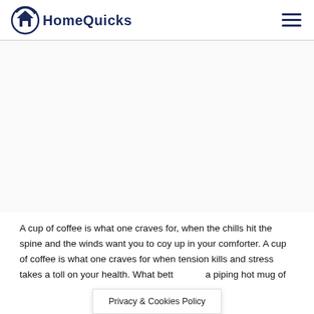HomeQuicks
[Figure (other): Advertisement/empty area below header]
A cup of coffee is what one craves for, when the chills hit the spine and the winds want you to coy up in your comforter. A cup of coffee is what one craves for when tension kills and stress takes a toll on your health. What bett... a piping hot mug of
Privacy & Cookies Policy